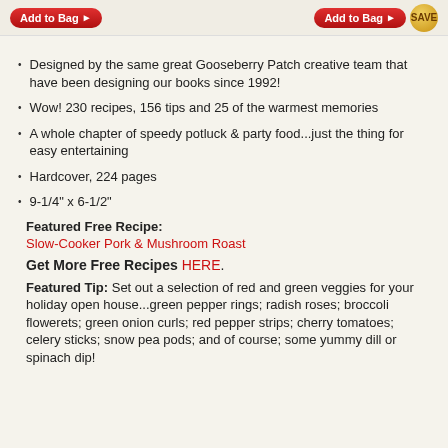Add to Bag ▶  |  Add to Bag ▶  SAVE
Designed by the same great Gooseberry Patch creative team that have been designing our books since 1992!
Wow! 230 recipes, 156 tips and 25 of the warmest memories
A whole chapter of speedy potluck & party food...just the thing for easy entertaining
Hardcover, 224 pages
9-1/4" x 6-1/2"
Featured Free Recipe:
Slow-Cooker Pork & Mushroom Roast
Get More Free Recipes HERE.
Featured Tip:  Set out a selection of red and green veggies for your holiday open house...green pepper rings; radish roses; broccoli flowerets; green onion curls; red pepper strips; cherry tomatoes; celery sticks; snow pea pods; and of course; some yummy dill or spinach dip!